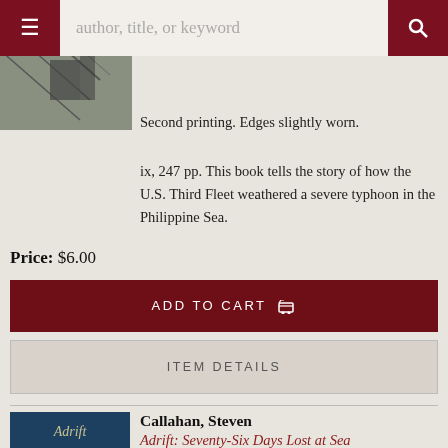author, title, or keyword
Second printing. Edges slightly worn.
ix, 247 pp. This book tells the story of how the U.S. Third Fleet weathered a severe typhoon in the Philippine Sea.
Price: $6.00
ADD TO CART
ITEM DETAILS
Callahan, Steven
Adrift: Seventy-Six Days Lost at Sea
New York: Ballantine Books, 1987. Callahan,